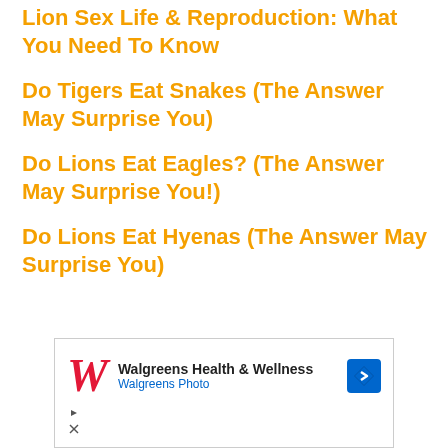Lion Sex Life & Reproduction: What You Need To Know
Do Tigers Eat Snakes (The Answer May Surprise You)
Do Lions Eat Eagles? (The Answer May Surprise You!)
Do Lions Eat Hyenas (The Answer May Surprise You)
[Figure (screenshot): Walgreens Health & Wellness advertisement banner with Walgreens logo, 'Walgreens Health & Wellness' title, 'Walgreens Photo' subtitle, and a blue direction sign icon.]